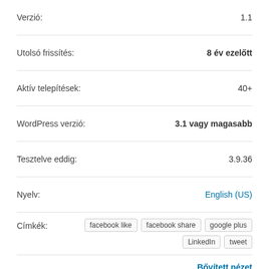Verzió: 1.1
Utolsó frissítés: 8 év ezelőtt
Aktív telepítések: 40+
WordPress verzió: 3.1 vagy magasabb
Tesztelve eddig: 3.9.36
Nyelv: English (US)
Címkék: facebook like, facebook share, google plus, LinkedIn, tweet
Bővített nézet
Vélemények
Összes >
[Figure (other): 3.5 star rating shown with 4 filled and 1 empty gold stars]